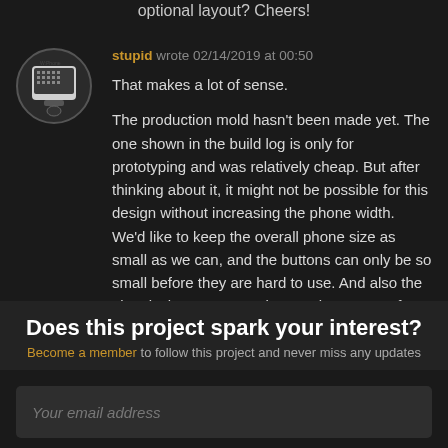optional layout? Cheers!
stupid wrote 02/14/2019 at 00:50

That makes a lot of sense.

The production mold hasn't been made yet. The one shown in the build log is only for prototyping and was relatively cheap. But after thinking about it, it might not be possible for this design without increasing the phone width. We'd like to keep the overall phone size as small as we can, and the buttons can only be so small before they are hard to use. And also the electrical contacts need a certain amount of space.
Does this project spark your interest?
Become a member to follow this project and never miss any updates
Your email address